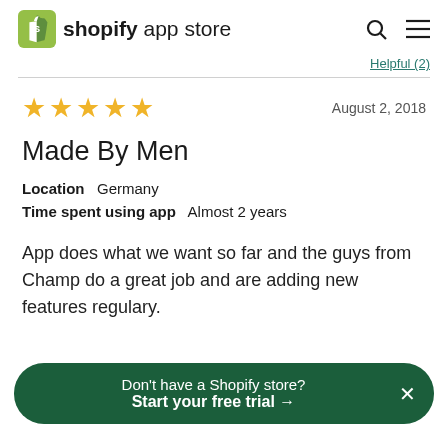shopify app store
Helpful (2)
★★★★★   August 2, 2018
Made By Men
Location   Germany
Time spent using app   Almost 2 years
App does what we want so far and the guys from Champ do a great job and are adding new features regulary.
Don't have a Shopify store? Start your free trial →